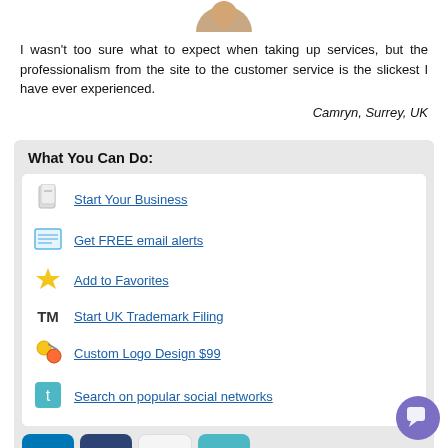[Figure (photo): Circular avatar photo of a person, partially cropped at the top]
I wasn't too sure what to expect when taking up services, but the professionalism from the site to the customer service is the slickest I have ever experienced.
Camryn, Surrey, UK
What You Can Do:
Start Your Business
Get FREE email alerts
Add to Favorites
Start UK Trademark Filing
Custom Logo Design $99
Search on popular social networks
[Figure (logo): Social network icons: LinkedIn (in), Facebook (fb), Freelancer (fr), Twitter bird icon]